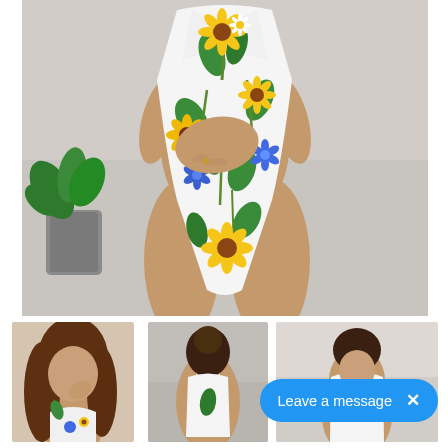[Figure (photo): Close-up photo of a woman wearing a white floral one-piece swimsuit with sunflowers (yellow/orange), blue flowers, and green leaves on a white background. Her tanned body is visible from mid-torso to upper legs, one hand resting on her hip. A potted plant is visible on the left. Background appears light gray/concrete.]
[Figure (photo): Thumbnail: woman with long wavy brown hair wearing white floral swimsuit with sunflower and blue flower print, chin resting on hand.]
[Figure (photo): Thumbnail: woman from behind showing back straps of white one-piece swimsuit.]
[Figure (photo): Thumbnail: woman from front wearing white one-piece swimsuit, light background.]
Leave a message  ×